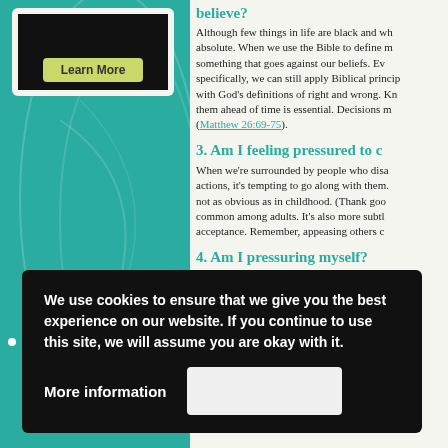[Figure (illustration): Learn More button on dark background inside a card on teal panel with decorative swirl lines]
Although few things in life are black and white, some things are absolute. When we use the Bible to define morality, we'll recognize something that goes against our beliefs. Even when the Bible isn't specific, we can still apply Biblical principles to line up our choices with God's definitions of right and wrong. Knowing our beliefs and them ahead of time is essential. Decisions made in haste (Matthew 26:69-75).
3. Am I feeling pressured to c
When we're surrounded by people who disagree with our beliefs or actions, it's tempting to go along with them. Peer pressure is not as obvious as in childhood. (Thank goodness!) But it's still common among adults. It's also more subtle—a desire for acceptance. Remember, appeasing others c
4. Am I pressuring myself?
Oftentimes, others don't pressure us; we p others be Go e, to
We use cookies to ensure that we give you the best experience on our website. If you continue to use this site, we will assume you are okay with it.
More information
pa
When we compromise our beliefs, we're no families, friends, even fellow believers can